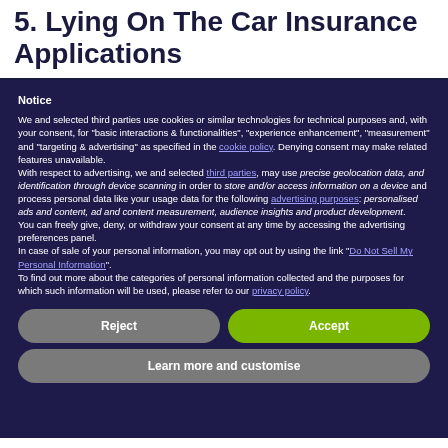5.  Lying On The Car Insurance Applications
Notice
We and selected third parties use cookies or similar technologies for technical purposes and, with your consent, for "basic interactions & functionalities", "experience enhancement", "measurement" and "targeting & advertising" as specified in the cookie policy. Denying consent may make related features unavailable.
With respect to advertising, we and selected third parties, may use precise geolocation data, and identification through device scanning in order to store and/or access information on a device and process personal data like your usage data for the following advertising purposes: personalised ads and content, ad and content measurement, audience insights and product development.
You can freely give, deny, or withdraw your consent at any time by accessing the advertising preferences panel.
In case of sale of your personal information, you may opt out by using the link "Do Not Sell My Personal Information".
To find out more about the categories of personal information collected and the purposes for which such information will be used, please refer to our privacy policy.
Reject
Accept
Learn more and customise